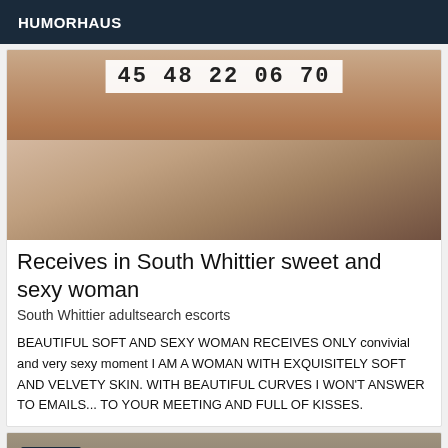HUMORHAUS
[Figure (photo): Close-up photo with a white overlay showing mirrored/reversed phone number text '07 60 22 84 54']
Receives in South Whittier sweet and sexy woman
South Whittier adultsearch escorts
BEAUTIFUL SOFT AND SEXY WOMAN RECEIVES ONLY convivial and very sexy moment I AM A WOMAN WITH EXQUISITELY SOFT AND VELVETY SKIN. WITH BEAUTIFUL CURVES I WON'T ANSWER TO EMAILS... TO YOUR MEETING AND FULL OF KISSES.
[Figure (photo): Partial photo of a person with an 'Online' badge overlay in dark blue]